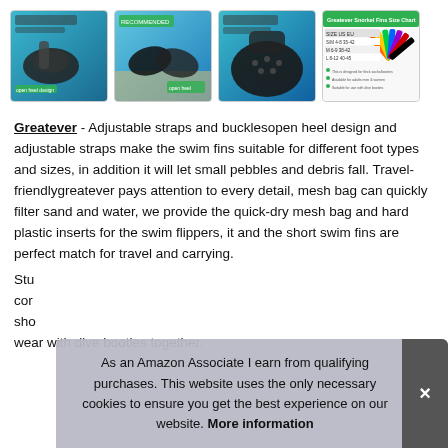[Figure (photo): Four product thumbnail images of Greatever swim fins/flippers shown in a horizontal row. First image shows adjustable fins underwater with text overlay. Second image shows fins from above on sandy surface. Third image shows close-up of fin blade. Fourth image shows a size chart with multiple colored fins.]
Greatever - Adjustable straps and bucklesopen heel design and adjustable straps make the swim fins suitable for different foot types and sizes, in addition it will let small pebbles and debris fall. Travel-friendlygreatever pays attention to every detail, mesh bag can quickly filter sand and water, we provide the quick-dry mesh bag and hard plastic inserts for the swim flippers, it and the short swim fins are perfect match for travel and carrying.
Stur [partially visible] corr [partially visible] sho [partially visible] wear with dive booties together.
As an Amazon Associate I earn from qualifying purchases. This website uses the only necessary cookies to ensure you get the best experience on our website. More information